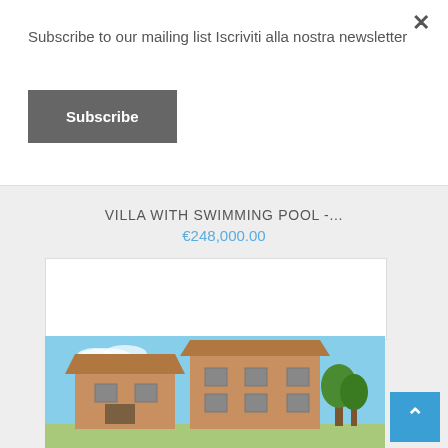Subscribe to our mailing list Iscriviti alla nostra newsletter
Subscribe
VILLA WITH SWIMMING POOL -...
€248,000.00
[Figure (photo): Exterior photo of an unfinished brick villa building under construction, with blue sky in background]
×